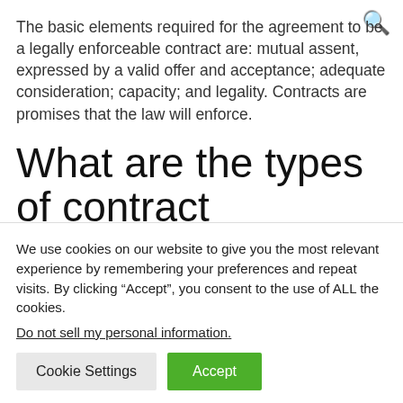The basic elements required for the agreement to be a legally enforceable contract are: mutual assent, expressed by a valid offer and acceptance; adequate consideration; capacity; and legality. Contracts are promises that the law will enforce.
What are the types of contract agreements?
We use cookies on our website to give you the most relevant experience by remembering your preferences and repeat visits. By clicking “Accept”, you consent to the use of ALL the cookies.
Do not sell my personal information.